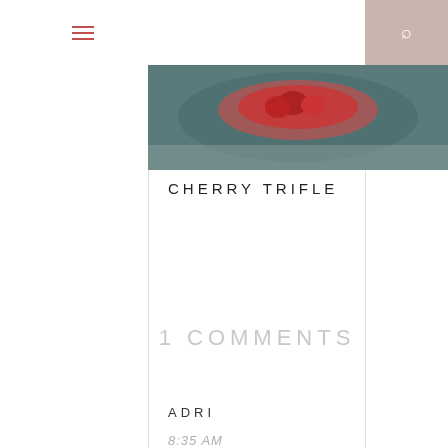[Figure (photo): Food photograph showing cherry trifle dessert, partially visible at top of page]
CHERRY TRIFLE
1 COMMENTS
ADRI
8:35 AM
I also had one and they are GOOD :D